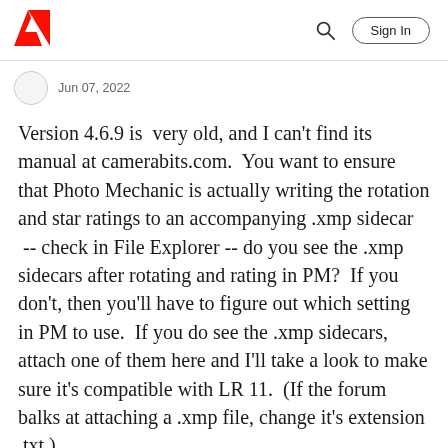Adobe | Sign In
Jun 07, 2022
Version 4.6.9 is  very old, and I can't find its manual at camerabits.com.  You want to ensure that Photo Mechanic is actually writing the rotation and star ratings to an accompanying .xmp sidecar  -- check in File Explorer -- do you see the .xmp sidecars after rotating and rating in PM?  If you don't, then you'll have to figure out which setting in PM to use.  If you do see the .xmp sidecars, attach one of them here and I'll take a look to make sure it's compatible with LR 11.  (If the forum balks at attaching a .xmp file, change it's extension .txt.)